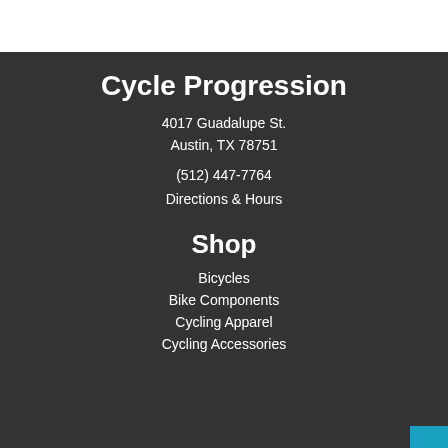Cycle Progression
4017 Guadalupe St.
Austin, TX 78751
(512) 447-7764
Directions & Hours
Shop
Bicycles
Bike Components
Cycling Apparel
Cycling Accessories